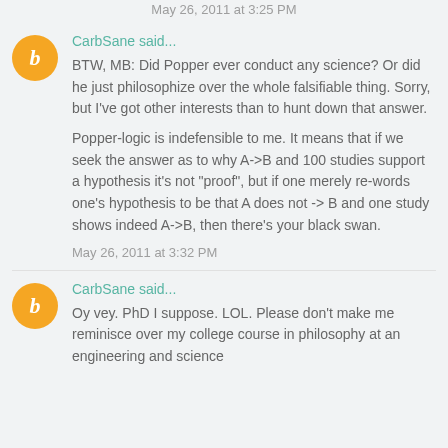May 26, 2011 at 3:25 PM
CarbSane said...
BTW, MB: Did Popper ever conduct any science? Or did he just philosophize over the whole falsifiable thing. Sorry, but I've got other interests than to hunt down that answer.

Popper-logic is indefensible to me. It means that if we seek the answer as to why A->B and 100 studies support a hypothesis it's not "proof", but if one merely re-words one's hypothesis to be that A does not -> B and one study shows indeed A->B, then there's your black swan.
May 26, 2011 at 3:32 PM
CarbSane said...
Oy vey. PhD I suppose. LOL. Please don't make me reminisce over my college course in philosophy at an engineering and science